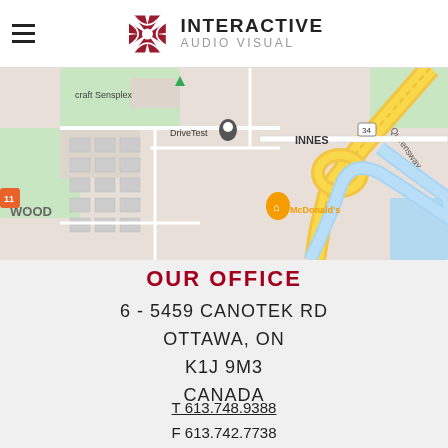Interactive Audio Visual
[Figure (map): Google Maps view showing area near Queensway and Innes Road in Ottawa, featuring landmarks like DriveTest, McDonald's, craft Sensplex, and Bearbrook Road.]
OUR OFFICE
6 - 5459 CANOTEK RD
OTTAWA, ON
K1J 9M3
CANADA
T 613.748.9388
F 613.742.7738